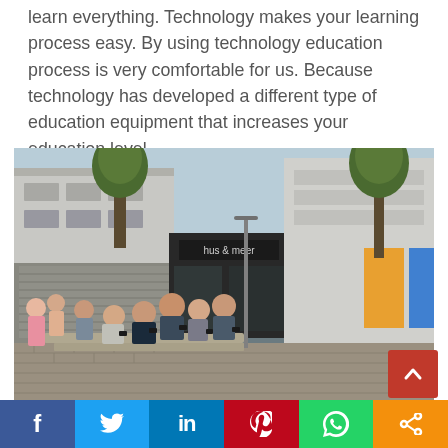learn everything. Technology makes your learning process easy. By using technology education process is very comfortable for us. Because technology has developed a different type of education equipment that increases your education level.
[Figure (photo): Group of young people sitting on steps in an urban pedestrian street, looking at their smartphones. Background shows a shopping street with a store sign reading 'hus & meer', trees, and brick pavement.]
online learning
Facebook share button, Twitter share button, LinkedIn share button, Pinterest share button, WhatsApp share button, Share button